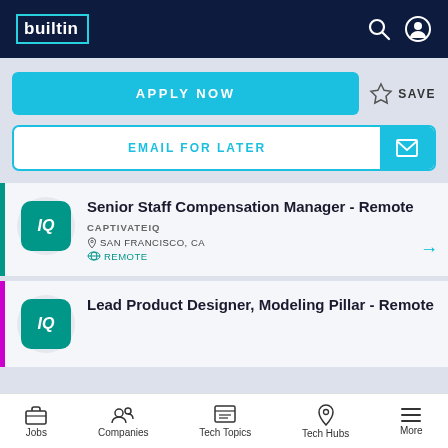builtin
APPLY NOW
SAVE
EMAIL FOR LATER
Senior Staff Compensation Manager - Remote
CAPTIVATEIQ
SAN FRANCISCO, CA
REMOTE
Lead Product Designer, Modeling Pillar - Remote
Jobs  Companies  Tech Topics  Tech Hubs  More